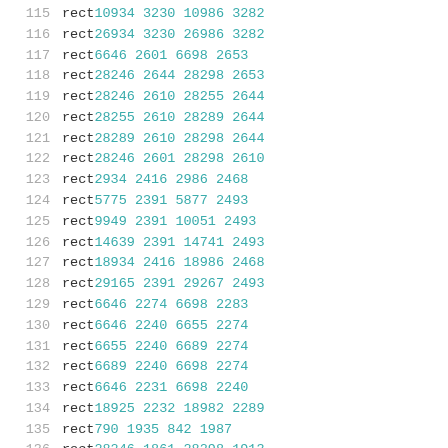115 rect 10934 3230 10986 3282
116 rect 26934 3230 26986 3282
117 rect 6646 2601 6698 2653
118 rect 28246 2644 28298 2653
119 rect 28246 2610 28255 2644
120 rect 28255 2610 28289 2644
121 rect 28289 2610 28298 2644
122 rect 28246 2601 28298 2610
123 rect 2934 2416 2986 2468
124 rect 5775 2391 5877 2493
125 rect 9949 2391 10051 2493
126 rect 14639 2391 14741 2493
127 rect 18934 2416 18986 2468
128 rect 29165 2391 29267 2493
129 rect 6646 2274 6698 2283
130 rect 6646 2240 6655 2274
131 rect 6655 2240 6689 2274
132 rect 6689 2240 6698 2274
133 rect 6646 2231 6698 2240
134 rect 18925 2232 18982 2289
135 rect 790 1935 842 1987
136 rect 28246 1861 28298 1913